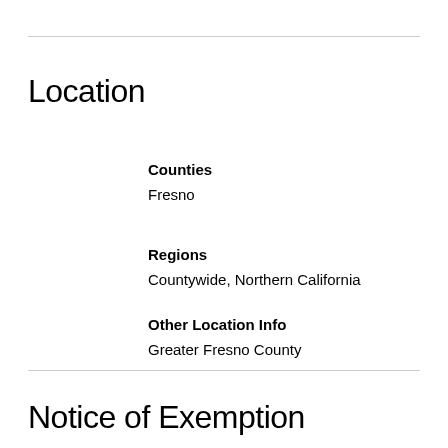Location
Counties
Fresno
Regions
Countywide, Northern California
Other Location Info
Greater Fresno County
Notice of Exemption